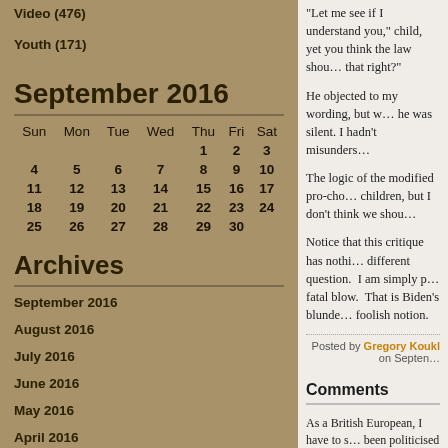Video (476)
Youth (171)
September 2016
| Sun | Mon | Tue | Wed | Thu | Fri | Sat |
| --- | --- | --- | --- | --- | --- | --- |
|  |  |  |  | 1 | 2 | 3 |
| 4 | 5 | 6 | 7 | 8 | 9 | 10 |
| 11 | 12 | 13 | 14 | 15 | 16 | 17 |
| 18 | 19 | 20 | 21 | 22 | 23 | 24 |
| 25 | 26 | 27 | 28 | 29 | 30 |  |
Archives
September 2016
August 2016
July 2016
June 2016
May 2016
April 2016
March 2016
February 2016
“Let me see if I understand you.” child, yet you think the law shou… that right?”
He objected to my wording, but w… he was silent. I hadn’t misunders…
The logic of the modified pro-cho… children, but I don’t think we shou…
Notice that this critique has nothi… different question. I am simply p… fatal blow. That is Biden’s blunde… foolish notion.
Posted by Gregory Koukl on Septen…
Comments
As a British European, I have to s… been politicised in your country. … who’s opinion matters. The moth… something that government shou…